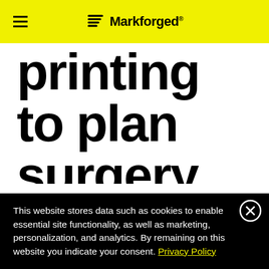Markforged
printing to plan surgery
Sep 17, 2015 | By Benedict at 3ders.org
In 1996, the Spice Girls told us that ‘tonight is the night where two become one’, but one fortunate family have good reason to
This website stores data such as cookies to enable essential site functionality, as well as marketing, personalization, and analytics. By remaining on this website you indicate your consent. Privacy Policy